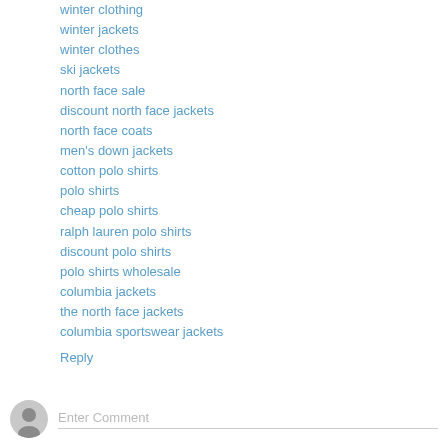winter clothing
winter jackets
winter clothes
ski jackets
north face sale
discount north face jackets
north face coats
men's down jackets
cotton polo shirts
polo shirts
cheap polo shirts
ralph lauren polo shirts
discount polo shirts
polo shirts wholesale
columbia jackets
the north face jackets
columbia sportswear jackets
Reply
Enter Comment